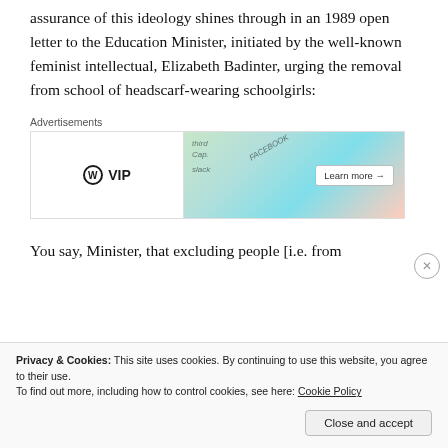assurance of this ideology shines through in an 1989 open letter to the Education Minister, initiated by the well-known feminist intellectual, Elizabeth Badinter, urging the removal from school of headscarf-wearing schoolgirls:
[Figure (screenshot): WordPress VIP advertisement banner with 'Advertisements' label above, showing WP VIP logo on left and colorful card-like graphics with 'Learn more →' button on right]
You say, Minister, that excluding people [i.e. from
Privacy & Cookies: This site uses cookies. By continuing to use this website, you agree to their use. To find out more, including how to control cookies, see here: Cookie Policy
Close and accept